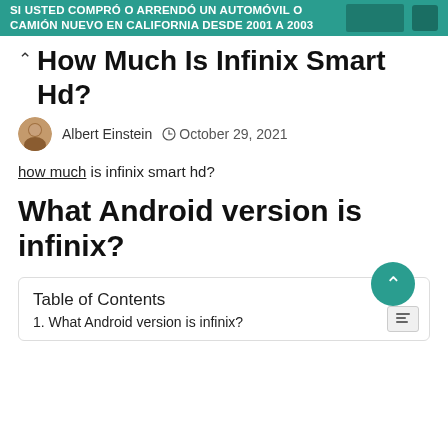SI USTED COMPRÓ O ARRENDÓ UN AUTOMÓVIL O CAMIÓN NUEVO EN CALIFORNIA DESDE 2001 A 2003
How Much Is Infinix Smart Hd?
Albert Einstein   October 29, 2021
how much is infinix smart hd?
What Android version is infinix?
Table of Contents
1. What Android version is infinix?